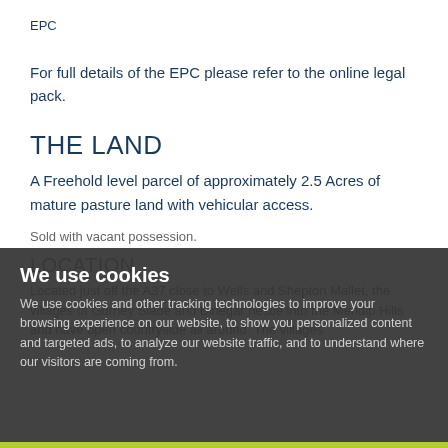EPC
For full details of the EPC please refer to the online legal pack.
THE LAND
A Freehold level parcel of approximately 2.5 Acres of mature pasture land with vehicular access.
Sold with vacant possession.
LOCATION
Located just off the A37 close to Wells and Shepton Mallet, the villages of Gurney Slade and Binegar nestle into the Mendip Hills and have open countryside all around. The villages
We use cookies
We use cookies and other tracking technologies to improve your browsing experience on our website, to show you personalized content and targeted ads, to analyze our website traffic, and to understand where our visitors are coming from.